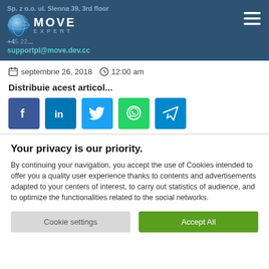Sp. z o.o. ul. Sienna 39, 3rd floor | MOVE EXPERT logo | supportpl@move.dev.cc
septembrie 26, 2018   12:00 am
Distribuie acest articol...
[Figure (other): Social media share buttons: Facebook, LinkedIn, Twitter, WhatsApp, Telegram]
Your privacy is our priority.
By continuing your navigation, you accept the use of Cookies intended to offer you a quality user experience thanks to contents and advertisements adapted to your centers of interest, to carry out statistics of audience, and to optimize the functionalities related to the social networks.
Cookie settings   Accept All